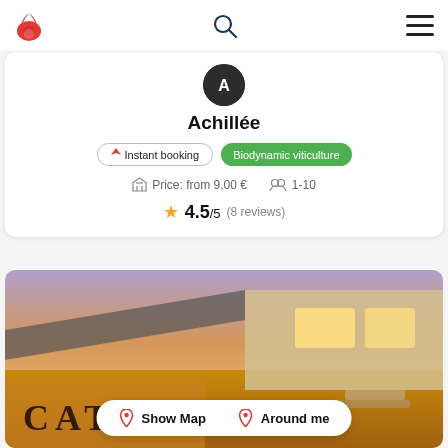Achillée wine app header with logo, search, and menu
[Figure (screenshot): Circular avatar/profile image of Achillée winery in dark grey]
Achillée
Instant booking
Biodynamic viticulture
Price: from 9,00 €   1-10
★ 4.5/5  (8 reviews)
[Figure (photo): Exterior photo of Cattin winery building at dusk with illuminated signage and entrance]
Show Map   Around me